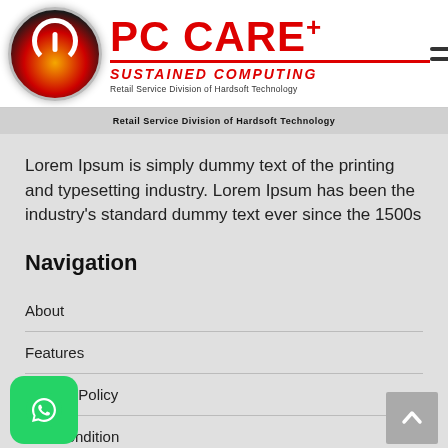[Figure (logo): PC CARE+ logo with power button icon circle and brand name]
Retail Service Division of Hardsoft Technology
Lorem Ipsum is simply dummy text of the printing and typesetting industry. Lorem Ipsum has been the industry's standard dummy text ever since the 1500s
Navigation
About
Features
Privacy Policy
And Condition